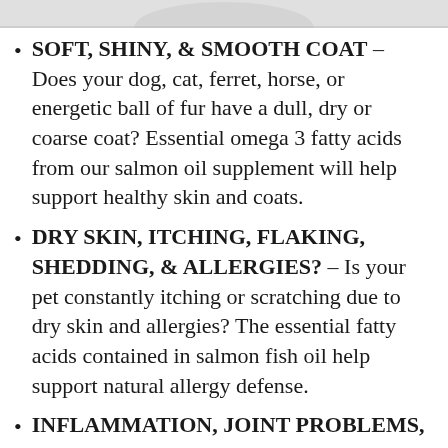[Figure (photo): Partial view of a product container/bottle at the top of the page]
SOFT, SHINY, & SMOOTH COAT – Does your dog, cat, ferret, horse, or energetic ball of fur have a dull, dry or coarse coat? Essential omega 3 fatty acids from our salmon oil supplement will help support healthy skin and coats.
DRY SKIN, ITCHING, FLAKING, SHEDDING, & ALLERGIES? – Is your pet constantly itching or scratching due to dry skin and allergies? The essential fatty acids contained in salmon fish oil help support natural allergy defense.
INFLAMMATION, JOINT PROBLEMS, & ARTHRITIS? – Have you noticed your pet playing less and having trouble with common activities? The omega 3 in salmon fish oil helps support joint and bone health and also supports a healthy immune system.